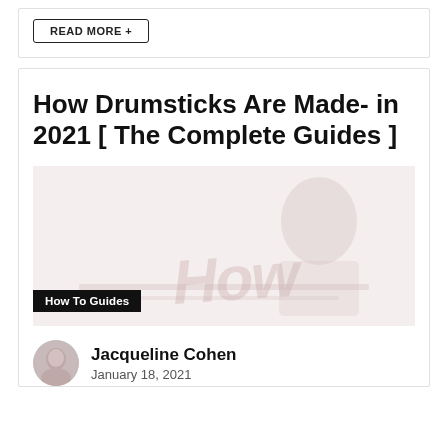READ MORE +
How Drumsticks Are Made- in 2021 [ The Complete Guides ]
[Figure (photo): Faded/watermarked image related to drumsticks with 'How' text visible, and a 'How To Guides' category badge overlaid at bottom left.]
Jacqueline Cohen
January 18, 2021